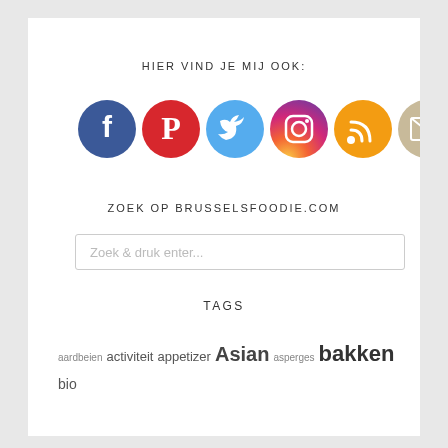HIER VIND JE MIJ OOK:
[Figure (illustration): Six circular social media icons in a row: Facebook (blue), Pinterest (red), Twitter (light blue), Instagram (purple-orange gradient), RSS feed (orange), Email/envelope (gold/tan)]
ZOEK OP BRUSSELSFOODIE.COM
Zoek  & druk enter...
TAGS
aardbeien  activiteit  appetizer  Asian  asperges  bakken  bio